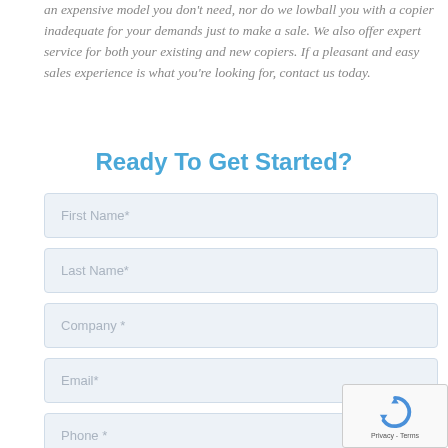an expensive model you don't need, nor do we lowball you with a copier inadequate for your demands just to make a sale. We also offer expert service for both your existing and new copiers. If a pleasant and easy sales experience is what you're looking for, contact us today.
Ready To Get Started?
First Name*
Last Name*
Company *
Email*
Phone *
[Figure (other): reCAPTCHA badge with circular arrow icon and Privacy - Terms text]